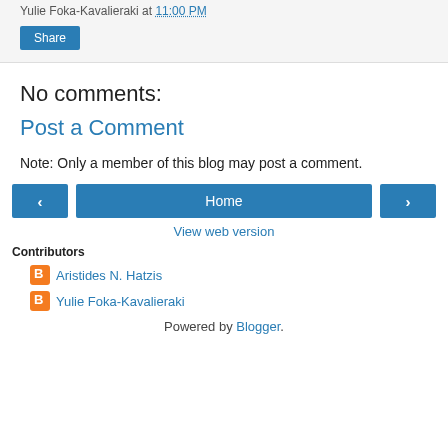Yulie Foka-Kavalieraki at 11:00 PM
Share
No comments:
Post a Comment
Note: Only a member of this blog may post a comment.
‹ Home ›
View web version
Contributors
Aristides N. Hatzis
Yulie Foka-Kavalieraki
Powered by Blogger.